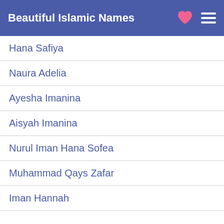Beautiful Islamic Names
Hana Safiya
Naura Adelia
Ayesha Imanina
Aisyah Imanina
Nurul Iman Hana Sofea
Muhammad Qays Zafar
Iman Hannah
Popular Search:
Nurul Hayat
Salman Faris
Zahid Ammar